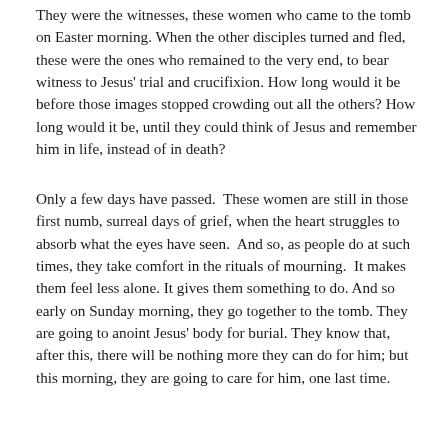They were the witnesses, these women who came to the tomb on Easter morning. When the other disciples turned and fled, these were the ones who remained to the very end, to bear witness to Jesus' trial and crucifixion. How long would it be before those images stopped crowding out all the others? How long would it be, until they could think of Jesus and remember him in life, instead of in death?
Only a few days have passed.  These women are still in those first numb, surreal days of grief, when the heart struggles to absorb what the eyes have seen.  And so, as people do at such times, they take comfort in the rituals of mourning.  It makes them feel less alone. It gives them something to do. And so early on Sunday morning, they go together to the tomb. They are going to anoint Jesus' body for burial. They know that, after this, there will be nothing more they can do for him; but this morning, they are going to care for him, one last time.